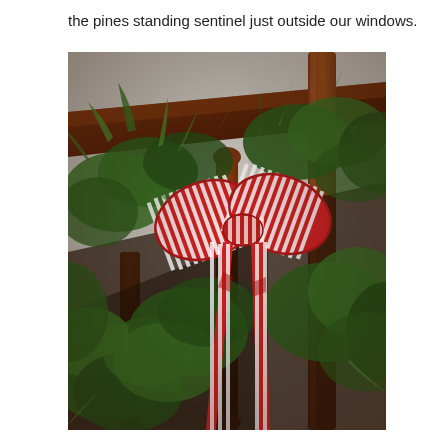the pines standing sentinel just outside our windows.
[Figure (photo): Close-up photograph of a Christmas garland made of fresh green pine/cedar branches draped over a wooden staircase banister, tied with a red and white striped bow ribbon hanging down in long tails. The wood of the banister is dark reddish-brown. The background is a light grey-white wall.]